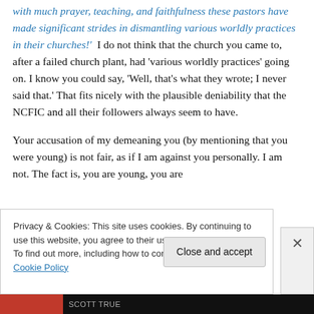with much prayer, teaching, and faithfulness these pastors have made significant strides in dismantling various worldly practices in their churches!'  I do not think that the church you came to, after a failed church plant, had 'various worldly practices' going on. I know you could say, 'Well, that's what they wrote; I never said that.' That fits nicely with the plausible deniability that the NCFIC and all their followers always seem to have.
Your accusation of my demeaning you (by mentioning that you were young) is not fair, as if I am against you personally. I am not. The fact is, you are young, you are
Privacy & Cookies: This site uses cookies. By continuing to use this website, you agree to their use.
To find out more, including how to control cookies, see here: Cookie Policy
Close and accept